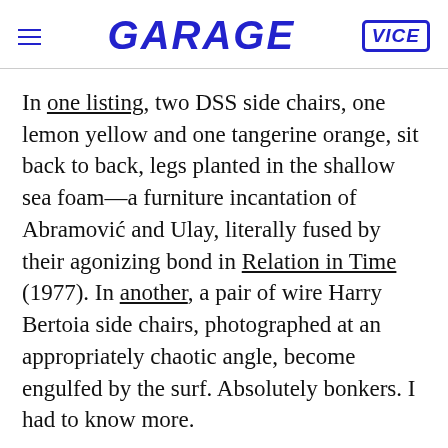GARAGE | VICE
In one listing, two DSS side chairs, one lemon yellow and one tangerine orange, sit back to back, legs planted in the shallow sea foam—a furniture incantation of Abramović and Ulay, literally fused by their agonizing bond in Relation in Time (1977). In another, a pair of wire Harry Bertoia side chairs, photographed at an appropriately chaotic angle, become engulfed by the surf. Absolutely bonkers. I had to know more.
In yet another listing, an aqua Dr. No armchair contemplates the sea, surely bracing itself for inevitable waves. In the listing photos, an anonymous